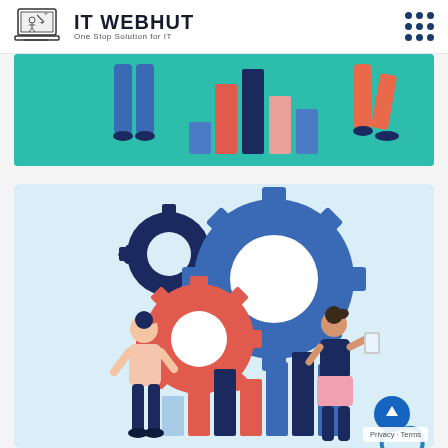IT WEBHUT — One Stop Solution for IT
[Figure (illustration): Partial illustration on teal/green background showing two people's legs and a bar chart with red, navy, pink, and blue bars]
[Figure (illustration): Illustration on light blue background showing two cartoon people (woman on left, woman on right holding tablet) with gears (navy, red, large blue) and a bar chart with alternating red and blue bars below]